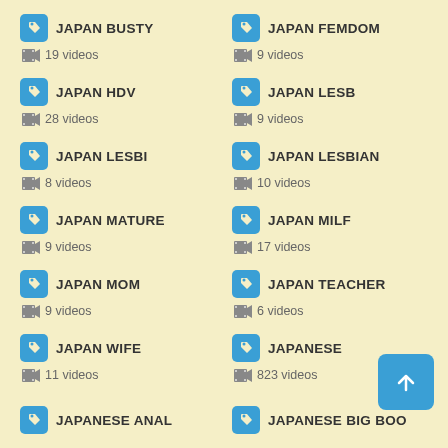JAPAN BUSTY — 19 videos
JAPAN FEMDOM — 9 videos
JAPAN HDV — 28 videos
JAPAN LESB — 9 videos
JAPAN LESBI — 8 videos
JAPAN LESBIAN — 10 videos
JAPAN MATURE — 9 videos
JAPAN MILF — 17 videos
JAPAN MOM — 9 videos
JAPAN TEACHER — 6 videos
JAPAN WIFE — 11 videos
JAPANESE — 823 videos
JAPANESE ANAL
JAPANESE BIG BOO